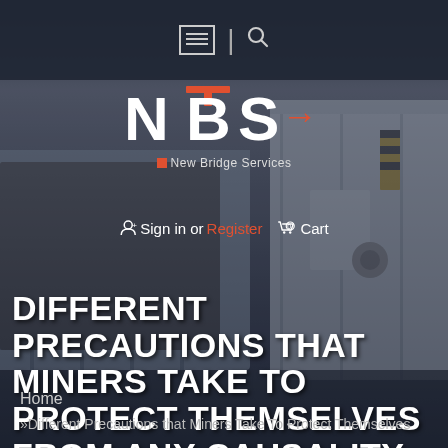☰ | 🔍
[Figure (logo): NBS New Bridge Services logo with white block letters and red arrow, plus sign-in and cart links]
DIFFERENT PRECAUTIONS THAT MINERS TAKE TO PROTECT THEMSELVES FROM ANY CAUSALITY
Home
»Different Precautions that Miners Take To Protect Themselves from Any Causality